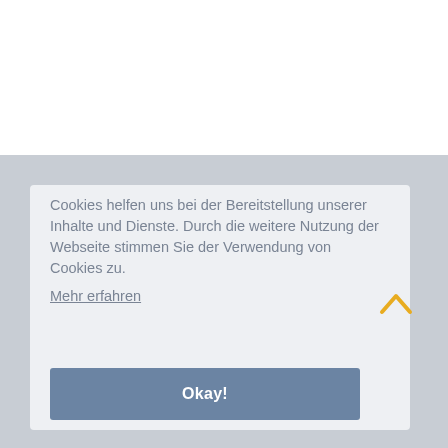Cookies helfen uns bei der Bereitstellung unserer Inhalte und Dienste. Durch die weitere Nutzung der Webseite stimmen Sie der Verwendung von Cookies zu. Mehr erfahren
Okay!